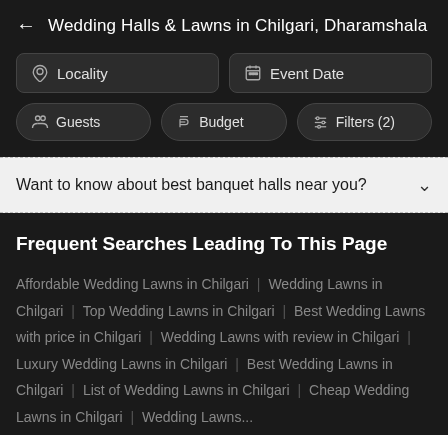Wedding Halls & Lawns in Chilgari, Dharamshala
Locality | Event Date | Guests | Budget | Filters (2)
Want to know about best banquet halls near you?
Frequent Searches Leading To This Page
Affordable Wedding Lawns in Chilgari | Wedding Lawns in Chilgari | Top Wedding Lawns in Chilgari | Best Wedding Lawns with price in Chilgari | Wedding Lawns with review in Chilgari | Luxury Wedding Lawns in Chilgari | Best Wedding Lawns in Chilgari | List of Wedding Lawns in Chilgari | Cheap Wedding Lawns in Chilgari | Wedding Lawns...